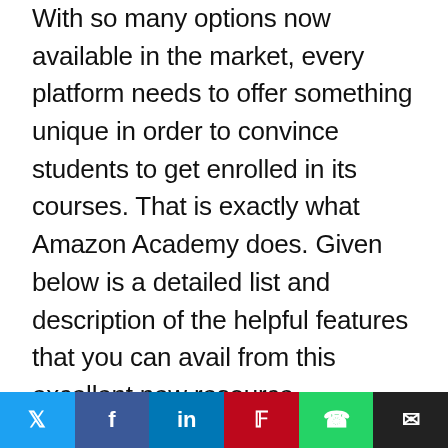With so many options now available in the market, every platform needs to offer something unique in order to convince students to get enrolled in its courses. That is exactly what Amazon Academy does. Given below is a detailed list and description of the helpful features that you can avail from this excellent new resource.
1. Live lessons with experienced JEE teachers
Even more important than the study